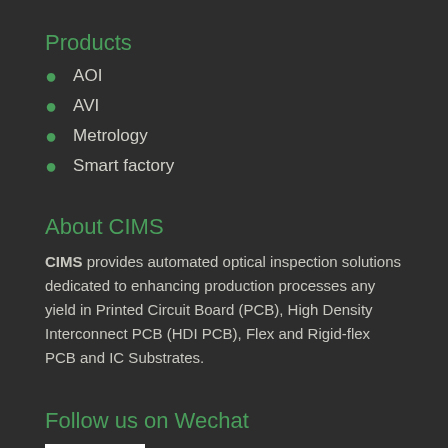Products
AOI
AVI
Metrology
Smart factory
About CIMS
CIMS provides automated optical inspection solutions dedicated to enhancing production processes any yield in Printed Circuit Board (PCB), High Density Interconnect PCB (HDI PCB), Flex and Rigid-flex PCB and IC Substrates.
Follow us on Wechat
[Figure (other): QR code for WeChat]